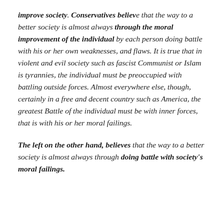improve society. Conservatives believe that the way to a better society is almost always through the moral improvement of the individual by each person doing battle with his or her own weaknesses, and flaws. It is true that in violent and evil society such as fascist Communist or Islam is tyrannies, the individual must be preoccupied with battling outside forces. Almost everywhere else, though, certainly in a free and decent country such as America, the greatest Battle of the individual must be with inner forces, that is with his or her moral failings.
The left on the other hand, believes that the way to a better society is almost always through doing battle with society's moral failings.